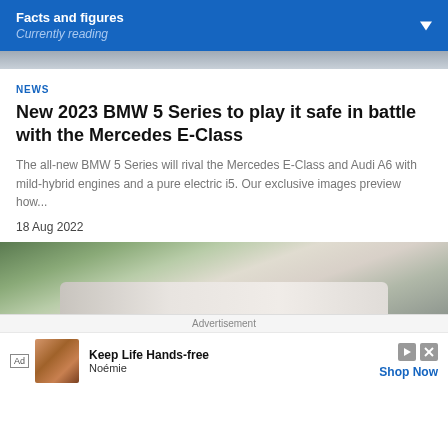Facts and figures
Currently reading
[Figure (photo): Blurred car photo strip at top]
NEWS
New 2023 BMW 5 Series to play it safe in battle with the Mercedes E-Class
The all-new BMW 5 Series will rival the Mercedes E-Class and Audi A6 with mild-hybrid engines and a pure electric i5. Our exclusive images preview how...
18 Aug 2022
[Figure (photo): Car driving on road with greenery in background]
Advertisement
Ad  Keep Life Hands-free
Noémie  Shop Now